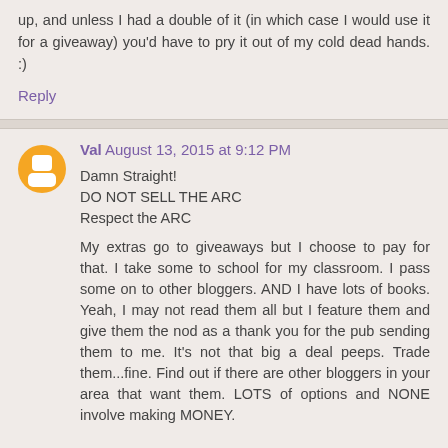up, and unless I had a double of it (in which case I would use it for a giveaway) you'd have to pry it out of my cold dead hands. :)
Reply
Val August 13, 2015 at 9:12 PM
Damn Straight!
DO NOT SELL THE ARC
Respect the ARC

My extras go to giveaways but I choose to pay for that. I take some to school for my classroom. I pass some on to other bloggers. AND I have lots of books. Yeah, I may not read them all but I feature them and give them the nod as a thank you for the pub sending them to me. It's not that big a deal peeps. Trade them...fine. Find out if there are other bloggers in your area that want them. LOTS of options and NONE involve making MONEY.